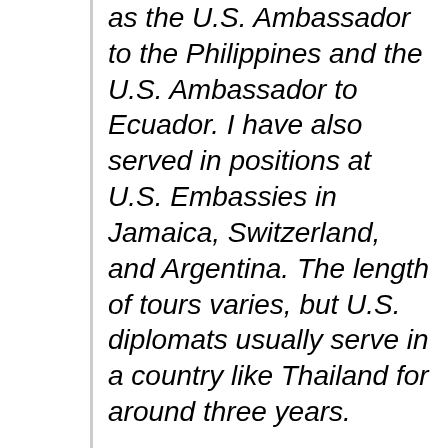as the U.S. Ambassador to the Philippines and the U.S. Ambassador to Ecuador. I have also served in positions at U.S. Embassies in Jamaica, Switzerland, and Argentina. The length of tours varies, but U.S. diplomats usually serve in a country like Thailand for around three years.
Retired Australian diplomat, Brunei Darassalam: The posting period varies for each post, generally two years for difficult posts and three years for all